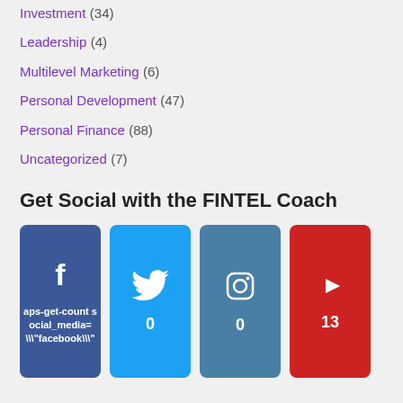Investment (34)
Leadership (4)
Multilevel Marketing (6)
Personal Development (47)
Personal Finance (88)
Uncategorized (7)
Get Social with the FINTEL Coach
[Figure (infographic): Social media icons: Facebook (with error text aps-get-count social_media=\"facebook\"), Twitter (0), Instagram (0), YouTube (13)]